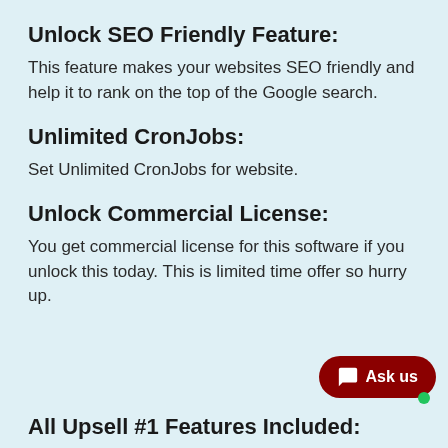Unlock SEO Friendly Feature:
This feature makes your websites SEO friendly and help it to rank on the top of the Google search.
Unlimited CronJobs:
Set Unlimited CronJobs for website.
Unlock Commercial License:
You get commercial license for this software if you unlock this today. This is limited time offer so hurry up.
[Figure (other): Dark red rounded chat button with speech bubble icon and text 'Ask us', with a green online status dot below it]
All Upsell #1 Features Included: